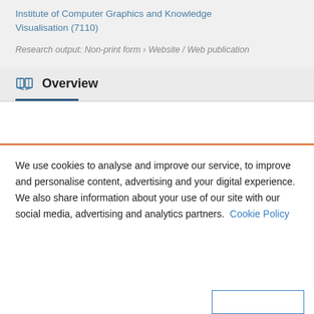Institute of Computer Graphics and Knowledge Visualisation (7110)
Research output: Non-print form › Website / Web publication
Overview
We use cookies to analyse and improve our service, to improve and personalise content, advertising and your digital experience. We also share information about your use of our site with our social media, advertising and analytics partners.  Cookie Policy